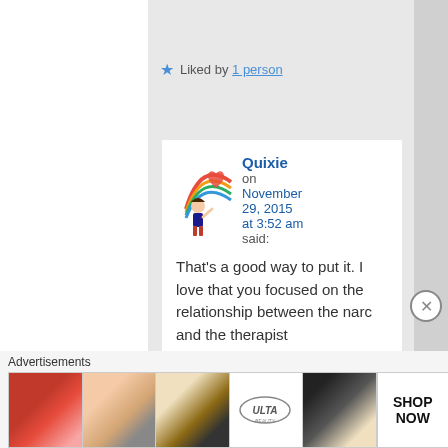Liked by 1 person
Quixie on November 29, 2015 at 3:52 am said:
That's a good way to put it. I love that you focused on the relationship between the narc and the therapist
Advertisements